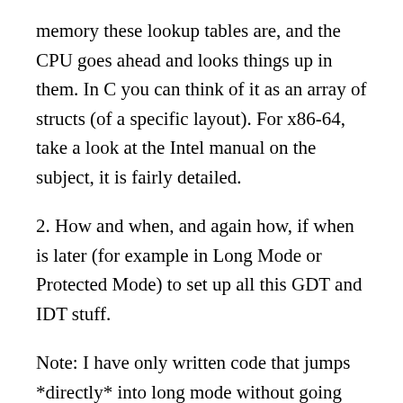memory these lookup tables are, and the CPU goes ahead and looks things up in them. In C you can think of it as an array of structs (of a specific layout). For x86-64, take a look at the Intel manual on the subject, it is fairly detailed.
2. How and when, and again how, if when is later (for example in Long Mode or Protected Mode) to set up all this GDT and IDT stuff.
Note: I have only written code that jumps *directly* into long mode without going through protected mode so the below may not apply to you.